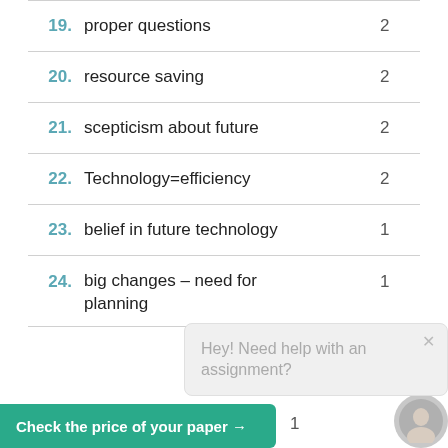19. proper questions  2
20. resource saving  2
21. scepticism about future  2
22. Technology=efficiency  2
23. belief in future technology  1
24. big changes – need for planning  1
Hey! Need help with an assignment?
Check the price of your paper →